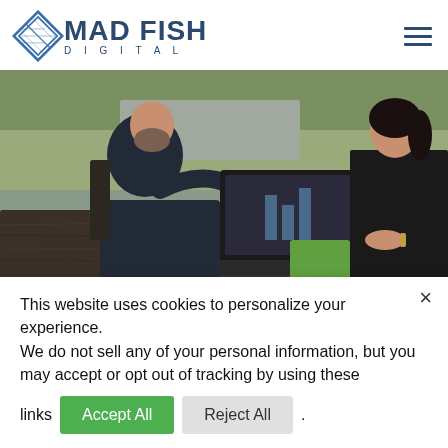[Figure (logo): Mad Fish Digital logo with diamond/fish icon and company name]
[Figure (photo): Two business professionals at an outdoor table with a laptop, one bearded man in a suit gesturing, one woman in dark clothing]
This website uses cookies to personalize your experience.
We do not sell any of your personal information, but you may accept or opt out of tracking by using these links
Accept All
Reject All